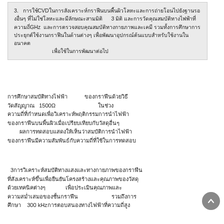3. การใช้CVDในการสังเคราะห์กราฟีนบนพื้นผิวโลหะและการถ่ายโอนไปยังฐานรองอื่นๆ ที่ไม่ใช่โลหะ 3 มิติ และการวัดคุณสมบัติทางไฟฟ้าที่ความถี่ GHz และการตรวจสอบคุณสมบัติทางกายภาพและเคมี รวมทั้งการศึกษาการประยุกต์ใช้งานกราฟีนในด้านต่างๆ เพื่อพัฒนาอุปกรณ์ต้นแบบ
การศึกษาสมบัติทางไฟฟ้า                     ของกราฟีนด้วยวิธี
วัดสัญญาณ  1500Ω                                              ในช่วง
ความถี่ที่กำหนดเพื่อวิเคราะห์พฤติกรรมการนำไฟฟ้า
ของกราฟีนบนพื้นผิวเมื่อเปรียบเทียบกับวัสดุอื่นๆ
        ผลการทดสอบแสดงให้เห็นว่าสมบัติการนำไฟฟ้า
ของกราฟีนมีความสัมพันธ์กับความถี่ที่ใช้ในการทดสอบ
3การวิเคราะห์สมบัติทางแสงและทางกายภาพของกราฟีน
ที่สังเคราะห์ขึ้นเพื่อยืนยันโครงสร้างและคุณภาพของวัสดุ
ด้วยเทคนิคต่างๆ              เพื่อประเมินคุณภาพและ
ความสม่ำเสมอของชั้นกราฟีน              รวมถึงการ
ศึกษา    300 kHzการตอบสนองทางไฟฟ้าที่ความถี่สูง